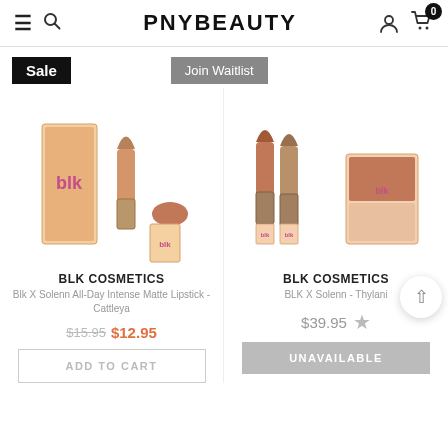PNYBEAUTY
Sale
Join Waitlist
[Figure (photo): Blk cosmetics lipstick product - BLK X Solenn All-Day Intense Matte Lipstick - Cattleya, shown with box and product]
[Figure (photo): Blk cosmetics lipstick set - BLK X Solenn - Thylani, shown with two lipsticks and compact]
BLK COSMETICS
Blk X Solenn All-Day Intense Matte Lipstick - Cattleya
$15.95  $12.95
ADD TO CART
BLK COSMETICS
BLK X Solenn - Thylani
$39.95
UNAVAILABLE